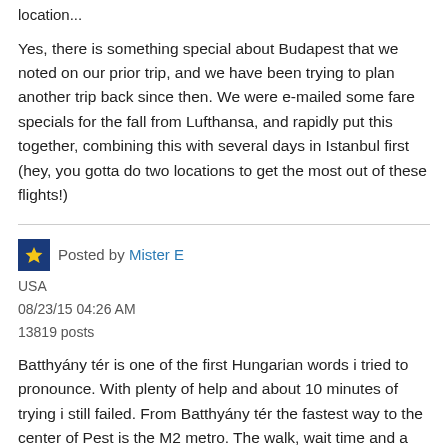location...
Yes, there is something special about Budapest that we noted on our prior trip, and we have been trying to plan another trip back since then. We were e-mailed some fare specials for the fall from Lufthansa, and rapidly put this together, combining this with several days in Istanbul first (hey, you gotta do two locations to get the most out of these flights!)
Posted by Mister E
USA
08/23/15 04:26 AM
13819 posts
Batthyány tér is one of the first Hungarian words i tried to pronounce. With plenty of help and about 10 minutes of trying i still failed. From Batthyány tér the fastest way to the center of Pest is the M2 metro. The walk, wait time and a $1.25 ticket should get you into the heat or Pest in under 20 minutes. The H5 also leaves this station for Szentendre. I know you know this. Its